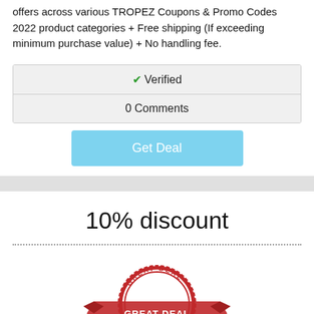offers across various TROPEZ Coupons & Promo Codes 2022 product categories + Free shipping (If exceeding minimum purchase value) + No handling fee.
| ✔ Verified |
| 0 Comments |
Get Deal
10% discount
[Figure (illustration): A red stamp graphic with text 'GREAT DEAL' on a banner and 'GREAT DEAL' in the center circle with stars]